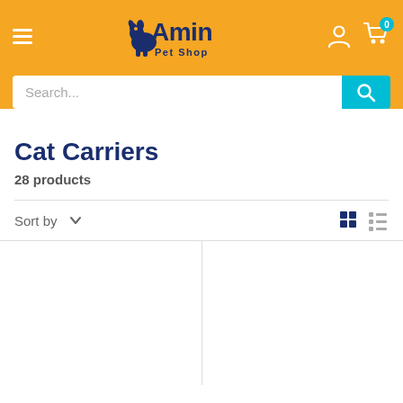[Figure (screenshot): Amin Pet Shop website header with orange background, hamburger menu, logo, account and cart icons]
Cat Carriers
28 products
Sort by
[Figure (screenshot): Product grid view and list view toggle icons, and two empty product cells below]